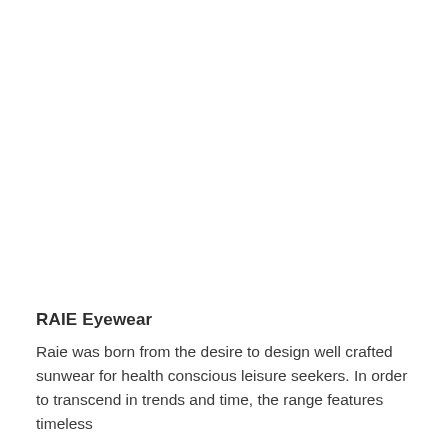[Figure (photo): Large blank/white area occupying the upper portion of the page, representing a product or brand image placeholder.]
RAIE Eyewear
Raie was born from the desire to design well crafted sunwear for health conscious leisure seekers. In order to transcend in trends and time, the range features timeless